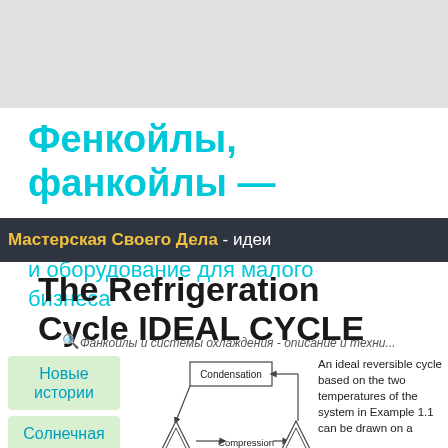Фенкойлы, фанкойлы —
Мастерская Своего Дела - идеи и оборудование для малого бизнеса
The Refrigeration Cycle IDEAL CYCLE
и оборудование для малого бизнеса
Фанкойлы и системы охлаждения - описание и техни...
Новые истории
Солнечная электростанция
[Figure (flowchart): Refrigeration cycle diagram showing Condensation, Compression, and Expansion nodes connected with arrows, with triangle symbols at compression and expansion points.]
An ideal reversible cycle based on the two temperatures of the system in Example 1.1 can be drawn on a